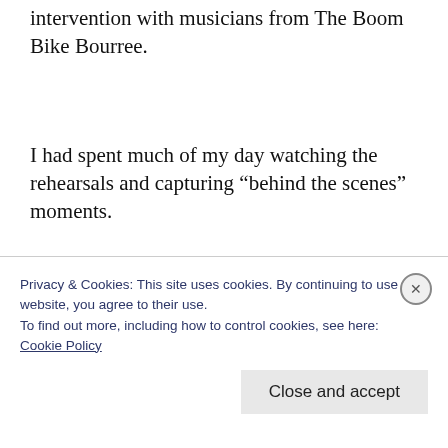intervention with musicians from The Boom Bike Bourree.
I had spent much of my day watching the rehearsals and capturing “behind the scenes” moments.
Take a look at some of my images here:
Privacy & Cookies: This site uses cookies. By continuing to use this website, you agree to their use.
To find out more, including how to control cookies, see here:
Cookie Policy
Close and accept